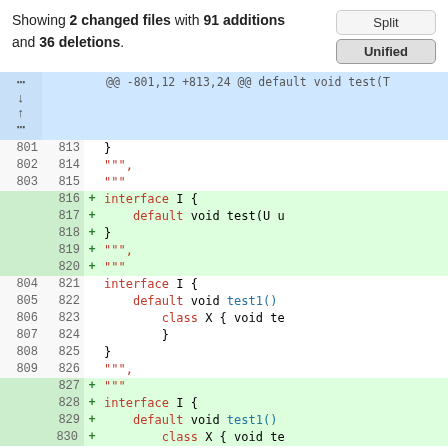Showing 2 changed files with 91 additions and 36 deletions.
[Figure (screenshot): Git diff view showing unified/split toggle buttons and code diff with line numbers, additions highlighted in green, and hunk headers in blue]
| old | new | sign | code |
| --- | --- | --- | --- |
|  |  |  | @@ -801,12 +813,24 @@ default void test(T |
| 801 | 813 |  | } |
| 802 | 814 |  | """, |
| 803 | 815 |  | """ |
|  | 816 | + | interface I { |
|  | 817 | + |     default void test(U u |
|  | 818 | + | } |
|  | 819 | + | """, |
|  | 820 | + | """ |
| 804 | 821 |  | interface I { |
| 805 | 822 |  |     default void test1() |
| 806 | 823 |  |         class X { void te |
| 807 | 824 |  |         } |
| 808 | 825 |  | } |
| 809 | 826 |  | """, |
|  | 827 | + | """ |
|  | 828 | + | interface I { |
|  | 829 | + |     default void test1() |
|  | 830 | + |     class X { void te |